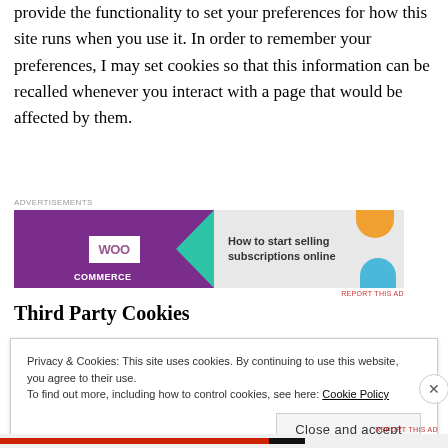provide the functionality to set your preferences for how this site runs when you use it. In order to remember your preferences, I may set cookies so that this information can be recalled whenever you interact with a page that would be affected by them.
[Figure (other): WooCommerce advertisement banner: 'How to start selling subscriptions online']
Third Party Cookies
Privacy & Cookies: This site uses cookies. By continuing to use this website, you agree to their use.
To find out more, including how to control cookies, see here: Cookie Policy
Close and accept